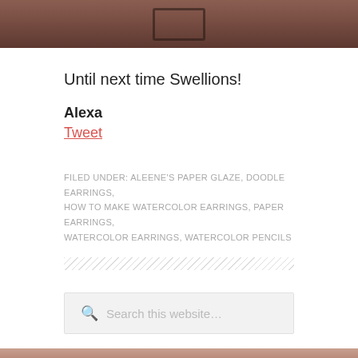[Figure (photo): Top portion of a photo showing dark brown/reddish earrings or craft items on a textured surface]
Until next time Swellions!
Alexa
Tweet
FILED UNDER: ALEENE'S PAPER GLAZE, DOODLE EARRINGS, HOW TO MAKE WATERCOLOR EARRINGS, PAPER EARRINGS, WATERCOLOR EARRINGS, WATERCOLOR PENCILS
[Figure (photo): Bottom portion of a photo showing warm-toned craft items]